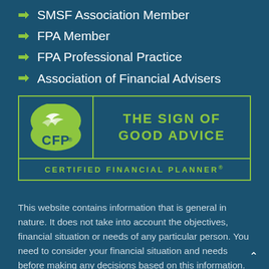SMSF Association Member
FPA Member
FPA Professional Practice
Association of Financial Advisers
[Figure (logo): CFP Certified Financial Planner logo with tagline 'The Sign of Good Advice']
This website contains information that is general in nature. It does not take into account the objectives, financial situation or needs of any particular person. You need to consider your financial situation and needs before making any decisions based on this information.